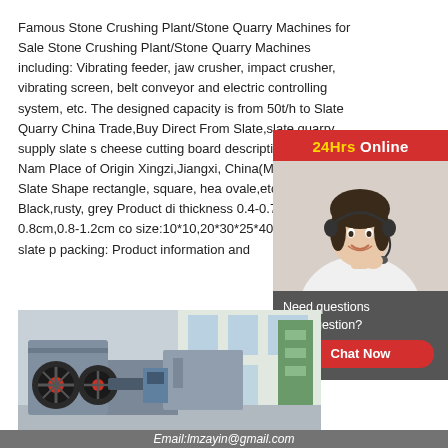Famous Stone Crushing Plant/Stone Quarry Machines for Sale Stone Crushing Plant/Stone Quarry Machines including: Vibrating feeder, jaw crusher, impact crusher, vibrating screen, belt conveyor and electric controlling system, etc. The designed capacity is from 50t/h to Slate Quarry China Trade,Buy Direct From Slate,slate quarry supply slate s cheese cutting board description: Stone Nam Place of Origin Xingzi,Jiangxi, China(Mainla Material Slate Shape rectangle, square, hea ovale,etc. Color Black,rusty, grey Product di thickness 0.4-0.7cm,0.5-0.8cm,0.8-1.2cm cc size:10*10,20*30*25*40 . style of our slate p packing: Product information and
[Figure (photo): Customer service representative with headset, 24Hrs Online chat widget with red background and grey panel showing 'Need questions & suggestion? Chat Now' button]
[Figure (photo): Industrial stone crushing machine (jaw crusher) inside a factory building with large windows]
Email:lmzayin@gmail.com